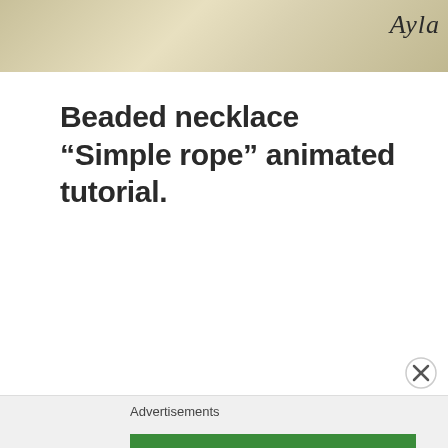Ayla
Beaded necklace “Simple rope” animated tutorial.
Advertisements